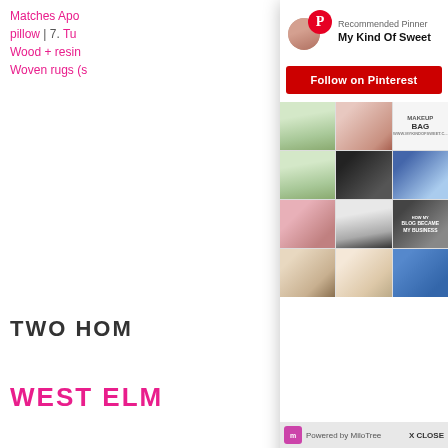Matches Apo... pillow | 7. Tu... Wood + resin... Woven rugs (s...
TWO HOM...
WEST ELM
[Figure (screenshot): Pinterest popup overlay showing recommended pinner 'My Kind Of Sweet' with a Follow on Pinterest button in red and a grid of fashion/lifestyle pin images. At the bottom is a MiloTree bar with 'X CLOSE' option.]
Today is the l...
Save up to 70%. West Elm has quickly become one of my go-to's for quality rugs and furniture without breaking the bank.